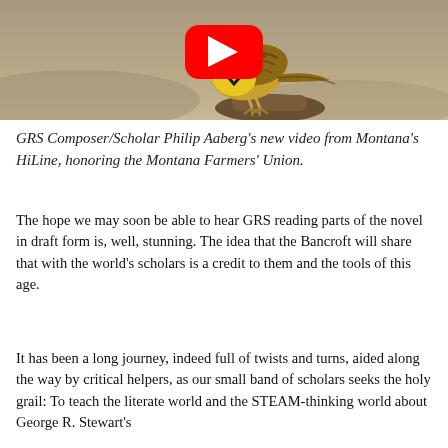[Figure (photo): A meadowlark bird perched on a branch, with a YouTube play button overlay. The bird has yellow and brown plumage. Background is a sandy/dusty terrain.]
GRS Composer/Scholar Philip Aaberg's new video from Montana's HiLine, honoring the Montana Farmers' Union.
The hope we may soon be able to hear GRS reading parts of the novel in draft form is, well, stunning. The idea that the Bancroft will share that with the world's scholars is a credit to them and the tools of this age.
It has been a long journey, indeed full of twists and turns, aided along the way by critical helpers, as our small band of scholars seeks the holy grail: To teach the literate world and the STEAM-thinking world about George R. Stewart's